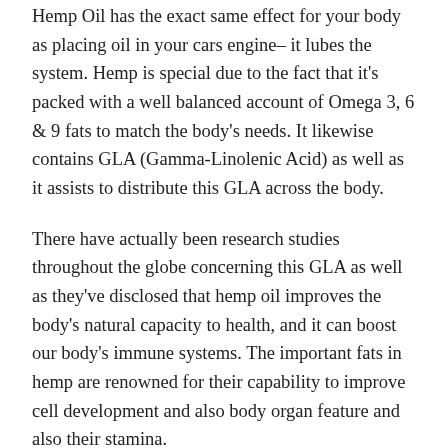Hemp Oil has the exact same effect for your body as placing oil in your cars engine– it lubes the system. Hemp is special due to the fact that it's packed with a well balanced account of Omega 3, 6 & 9 fats to match the body's needs. It likewise contains GLA (Gamma-Linolenic Acid) as well as it assists to distribute this GLA across the body.
There have actually been research studies throughout the globe concerning this GLA as well as they've disclosed that hemp oil improves the body's natural capacity to health, and it can boost our body's immune systems. The important fats in hemp are renowned for their capability to improve cell development and also body organ feature and also their stamina.